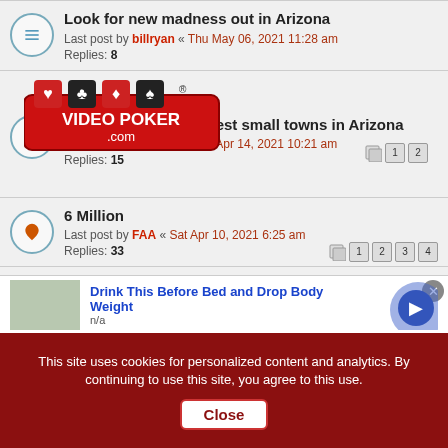Look for new madness out in Arizona
Last post by billryan « Thu May 06, 2021 11:28 am
Replies: 8
[Video Poker ad overlay] ...ned one of the 15 best small towns in Arizona
Last post by billryan « Wed Apr 14, 2021 10:21 am
Replies: 15
6 Million
Last post by FAA « Sat Apr 10, 2021 6:25 am
Replies: 33
trump campaign took in $122 million in credit card fraud
Last post by davidearl « Tue Apr 06, 2021 2:16 am
Replies: 6
Happy Easter
Last post by Hydroman « Sun Apr 04, 2021 11:54 am
Replies: 4
[Figure (infographic): Video Poker .com advertisement overlay with card suits logos]
[Figure (infographic): Advertisement banner: Drink This Before Bed and Drop Body Weight, with image thumbnail and blue arrow]
This site uses cookies for personalized content and analytics. By continuing to use this site, you agree to this use. Close